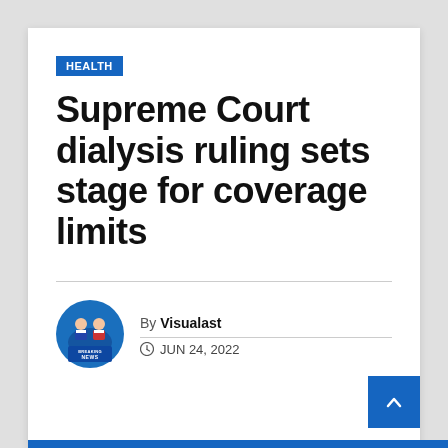HEALTH
Supreme Court dialysis ruling sets stage for coverage limits
By Visualast
JUN 24, 2022
[Figure (logo): Breaking News avatar logo with two news anchors and a blue shield with 'BREAKING NEWS' text]
[Figure (other): Blue scroll-to-top button with upward arrow chevron]